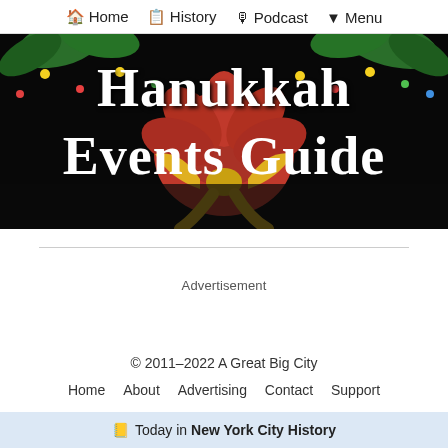🏠 Home  📋 History  🎙 Podcast  ▼ Menu
[Figure (illustration): Hanukkah Events Guide banner image: white serif text reading 'Hanukkah Events Guide' over a dark/black background with festive decorations including green foliage, red flowers, yellow ribbon bow, and colorful lights.]
Advertisement
© 2011–2022 A Great Big City
Home  About  Advertising  Contact  Support
📒 Today in New York City History